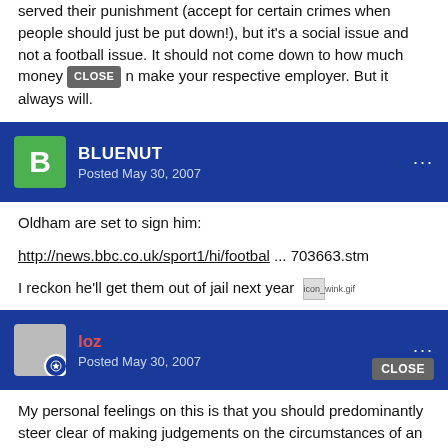served their punishment (accept for certain crimes when people should just be put down!), but it's a social issue and not a football issue. It should not come down to how much money [CLOSE] n make your respective employer. But it always will.
BLUENUT — Posted May 30, 2007
Oldham are set to sign him:

http://news.bbc.co.uk/sport1/hi/footbal ... 703663.stm

I reckon he'll get them out of jail next year [icon_wink.gif]
loz — Posted May 30, 2007
My personal feelings on this is that you should predominantly steer clear of making judgements on the circumstances of an individual